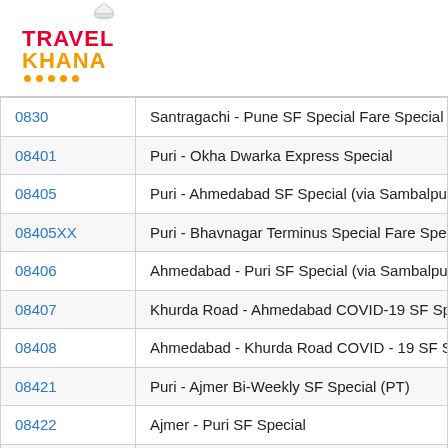[Figure (logo): TravelKhana logo with chef hat icon, TRAVEL in red and KHANA in orange with orange dots underline]
| Train Number | Train Name |
| --- | --- |
| 0830 | Santragachi - Pune SF Special Fare Special |
| 08401 | Puri - Okha Dwarka Express Special |
| 08405 | Puri - Ahmedabad SF Special (via Sambalpu |
| 08405XX | Puri - Bhavnagar Terminus Special Fare Spe |
| 08406 | Ahmedabad - Puri SF Special (via Sambalpu |
| 08407 | Khurda Road - Ahmedabad COVID-19 SF Sp |
| 08408 | Ahmedabad - Khurda Road COVID - 19 SF S |
| 08421 | Puri - Ajmer Bi-Weekly SF Special (PT) |
| 08422 | Ajmer - Puri SF Special |
| 08422x | Ajmer - Puri SF Special |